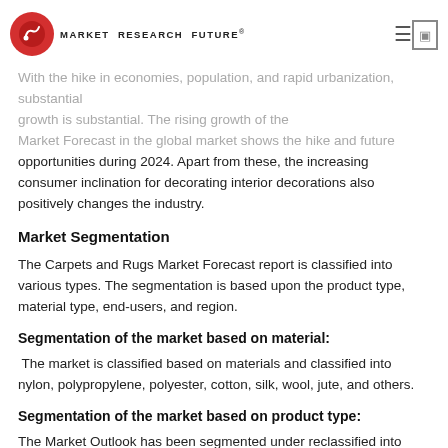MARKET RESEARCH FUTURE
With the hike in economies, population, and rapid urbanization, substantial growth is substantial. The rising growth of the Market Forecast in the global market shows the hike and future opportunities during 2024. Apart from these, the increasing consumer inclination for decorating interior decorations also positively changes the industry.
Market Segmentation
The Carpets and Rugs Market Forecast report is classified into various types. The segmentation is based upon the product type, material type, end-users, and region.
Segmentation of the market based on material:
The market is classified based on materials and classified into nylon, polypropylene, polyester, cotton, silk, wool, jute, and others.
Segmentation of the market based on product type:
The Market Outlook has been segmented under reclassified into woven,